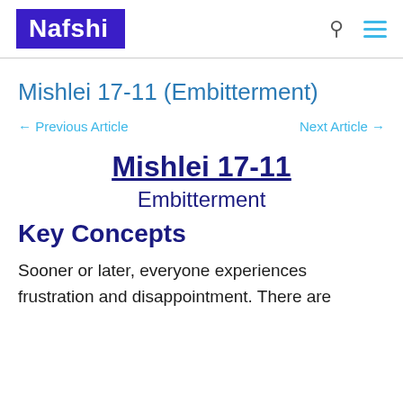Nafshi
Mishlei 17-11 (Embitterment)
← Previous Article
Next Article →
Mishlei 17-11
Embitterment
Key Concepts
Sooner or later, everyone experiences frustration and disappointment. There are